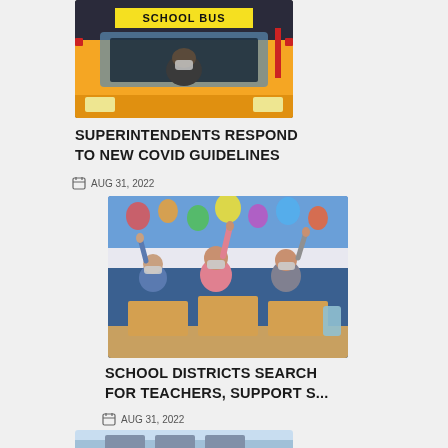[Figure (photo): Front view of a school bus with 'SCHOOL BUS' sign on top, driver visible through windshield wearing a mask]
SUPERINTENDENTS RESPOND TO NEW COVID GUIDELINES
AUG 31, 2022
[Figure (photo): Children in a classroom wearing face masks with their hands raised, colorful decorations on the walls]
SCHOOL DISTRICTS SEARCH FOR TEACHERS, SUPPORT S...
AUG 31, 2022
[Figure (photo): Partial view of a classroom scene]